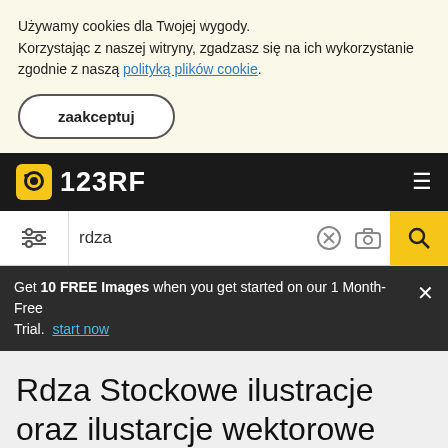Używamy cookies dla Twojej wygody. Korzystając z naszej witryny, zgadzasz się na ich wykorzystanie zgodnie z naszą polityką plików cookie.
zaakceptuj
[Figure (logo): 123RF logo with camera icon on black navigation bar, hamburger menu icon on right]
[Figure (screenshot): Search bar with filter icon, text input showing 'rdza', clear button, camera search button, and yellow search button]
Get 10 FREE Images when you get started on our 1 Month-Free Trial. start now
Rdza Stockowe ilustracje oraz ilustarcje wektorowe